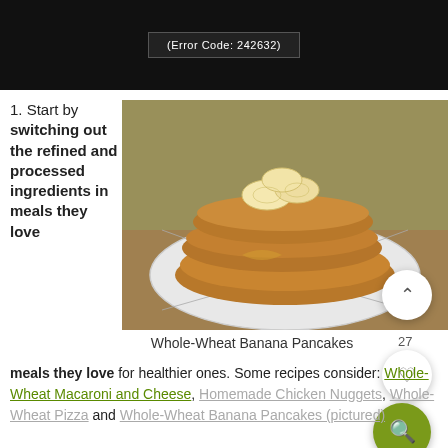[Figure (screenshot): Black video player error banner showing error code text]
1. Start by switching out the refined and processed ingredients in meals they love for healthier ones. Some recipes consider: Whole-Wheat Macaroni and Cheese, Homemade Chicken Nuggets, Whole-Wheat Pizza and Whole-Wheat Banana Pancakes (pictured)
[Figure (photo): Stack of whole-wheat banana pancakes topped with banana slices on a decorative plate, photographed outdoors]
Whole-Wheat Banana Pancakes